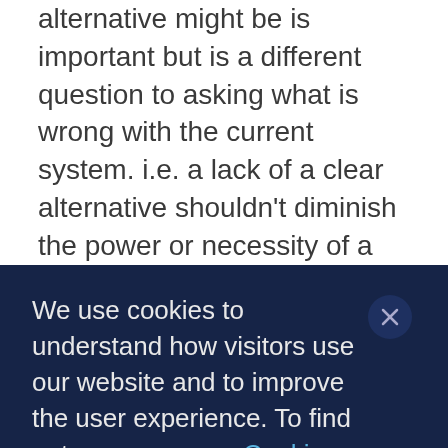alternative might be is important but is a different question to asking what is wrong with the current system. i.e. a lack of a clear alternative shouldn't diminish the power or necessity of a critique. For Marx, 'Communism' referred to a negative critique, not a planned social system. He had very little to say in his mature work about what a post-capitalist society would look like other than it wouldn't have the attributes of capitalist social relations, based on private property, the reification of the commodity form and the exploitation of labour (to put it simply). So, Marxist critical theory is, for me and many others, a method of looking at our lives in a
We use cookies to understand how visitors use our website and to improve the user experience. To find out more, see our Cookies Policy.